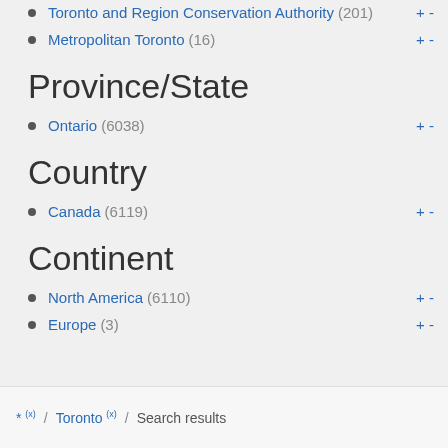Toronto and Region Conservation Authority (201) + -
Metropolitan Toronto (16) + -
Province/State
Ontario (6038) + -
Country
Canada (6119) + -
Continent
North America (6110) + -
Europe (3) + -
* (x) / Toronto (x) / Search results